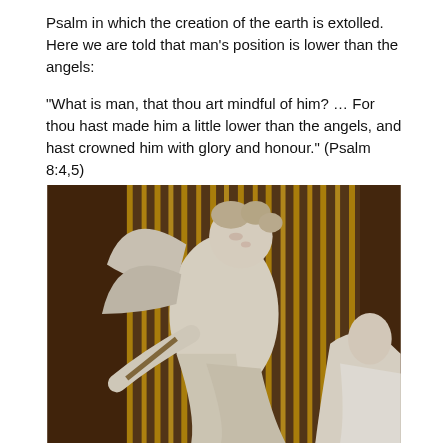Psalm in which the creation of the earth is extolled. Here we are told that man's position is lower than the angels:
“What is man, that thou art mindful of him? … For thou hast made him a little lower than the angels, and hast crowned him with glory and honour.” (Psalm 8:4,5)
[Figure (photo): Marble sculpture of an angel with wings, holding a staff, gesturing toward a robed figure. Golden vertical rods or rays form the background. The sculpture appears to be a Baroque-era religious artwork, likely Bernini's Ecstasy of Saint Teresa or a similar piece.]